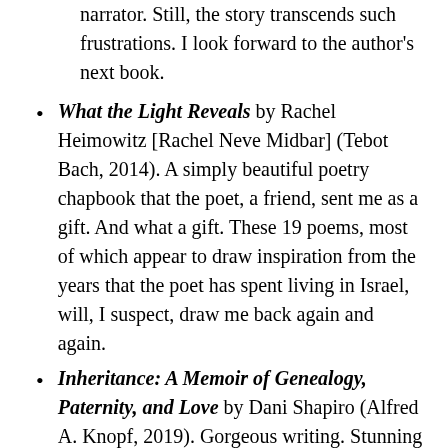narrator. Still, the story transcends such frustrations. I look forward to the author's next book.
What the Light Reveals by Rachel Heimowitz [Rachel Neve Midbar] (Tebot Bach, 2014). A simply beautiful poetry chapbook that the poet, a friend, sent me as a gift. And what a gift. These 19 poems, most of which appear to draw inspiration from the years that the poet has spent living in Israel, will, I suspect, draw me back again and again.
Inheritance: A Memoir of Genealogy, Paternity, and Love by Dani Shapiro (Alfred A. Knopf, 2019). Gorgeous writing. Stunning story. Read it in a day (late into the evening—I even skipped a favorite TV program to keep reading!).